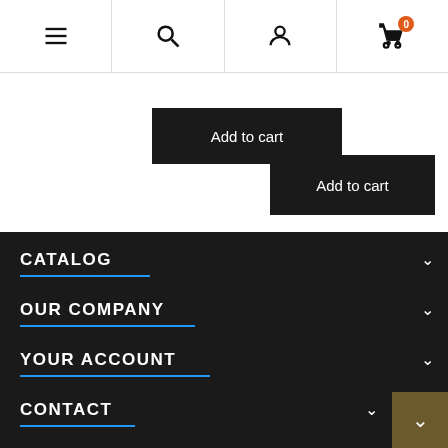[Figure (screenshot): Navigation bar with hamburger menu, search icon, account icon, and cart icon with badge showing 0]
Add to cart
Add to cart
CATALOG
OUR COMPANY
YOUR ACCOUNT
CONTACT